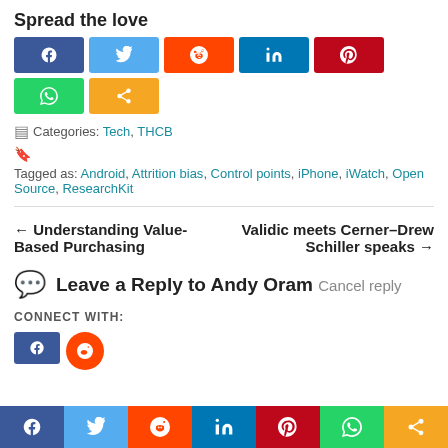Spread the love
[Figure (infographic): Social sharing buttons: Facebook, Twitter, Reddit, LinkedIn, Pinterest, WhatsApp, Share]
Categories: Tech, THCB
Tagged as: Android, Attrition bias, Control points, iPhone, iWatch, Open Source, ResearchKit
← Understanding Value-Based Purchasing
Validic meets Cerner–Drew Schiller speaks →
Leave a Reply to Andy Oram Cancel reply
CONNECT WITH:
[Figure (infographic): Bottom social share bar: Facebook, Twitter, Reddit, LinkedIn, Pinterest, WhatsApp, Share]